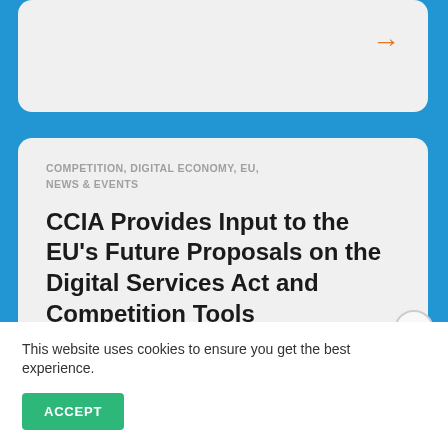→
COMPETITION, DIGITAL ECONOMY, EU, NEWS & EVENTS
CCIA Provides Input to the EU's Future Proposals on the Digital Services Act and Competition Tools
JUNE 30, 2020
Brussels, BELGIUM — The Computer & Communications Industry...
This website uses cookies to ensure you get the best experience.
ACCEPT